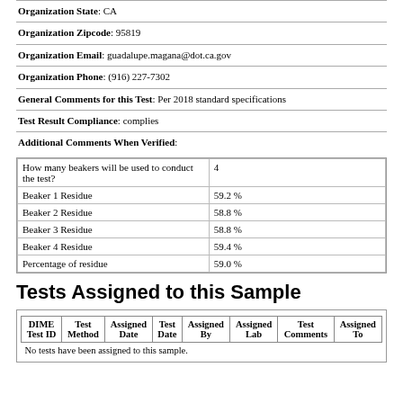Organization State: CA
Organization Zipcode: 95819
Organization Email: guadalupe.magana@dot.ca.gov
Organization Phone: (916) 227-7302
General Comments for this Test: Per 2018 standard specifications
Test Result Compliance: complies
Additional Comments When Verified:
| Question | Answer |
| --- | --- |
| How many beakers will be used to conduct the test? | 4 |
| Beaker 1 Residue | 59.2 % |
| Beaker 2 Residue | 58.8 % |
| Beaker 3 Residue | 58.8 % |
| Beaker 4 Residue | 59.4 % |
| Percentage of residue | 59.0 % |
Tests Assigned to this Sample
| DIME Test ID | Test Method | Assigned Date | Test Date | Assigned By | Assigned Lab | Test Comments | Assigned To |
| --- | --- | --- | --- | --- | --- | --- | --- |
| No tests have been assigned to this sample. |